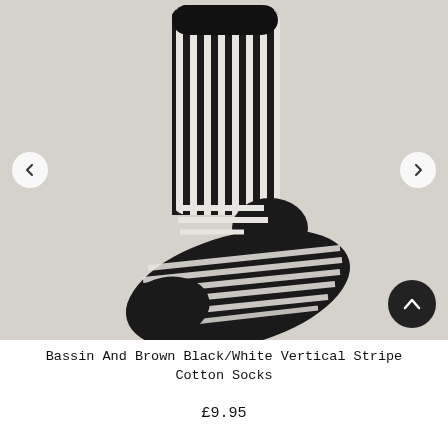[Figure (photo): Product photo of Bassin And Brown Black/White Vertical Stripe Cotton Socks displayed on a light grey background. The sock is shown upright with the leg portion straight up and the foot angled to the lower left. The sock features bold alternating black and white vertical stripes with solid black cuff, toe cap and heel.]
Bassin And Brown Black/White Vertical Stripe Cotton Socks
£9.95